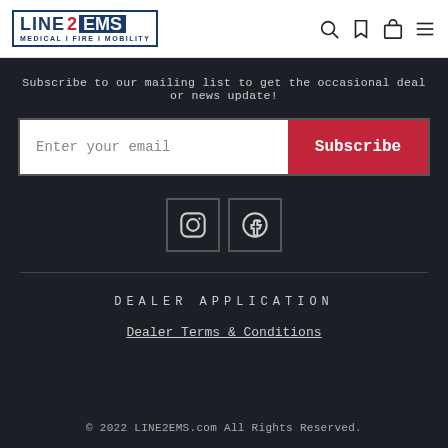[Figure (logo): LINE2EMS logo with tagline MEDICAL | FIRE | MOBILITY]
Subscribe to our mailing list to get the occasional deal or news update!
Enter your email
Subscribe
[Figure (illustration): Instagram and Facebook social media icons]
DEALER APPLICATION
Dealer Terms & Conditions
© 2022 LINE2EMS.com All Rights Reserved.